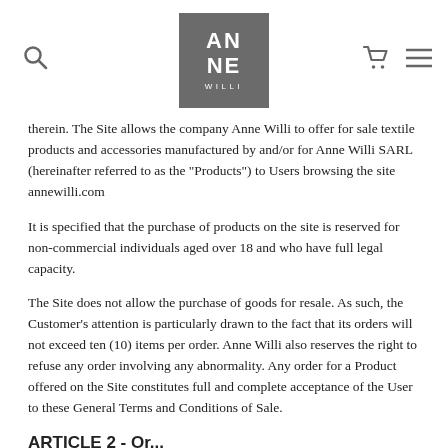[Figure (logo): Anne Willi brand logo — dark grey square with white text AN NE WILLI]
therein. The Site allows the company Anne Willi to offer for sale textile products and accessories manufactured by and/or for Anne Willi SARL (hereinafter referred to as the "Products") to Users browsing the site annewilli.com
It is specified that the purchase of products on the site is reserved for non-commercial individuals aged over 18 and who have full legal capacity.
The Site does not allow the purchase of goods for resale. As such, the Customer's attention is particularly drawn to the fact that its orders will not exceed ten (10) items per order. Anne Willi also reserves the right to refuse any order involving any abnormality. Any order for a Product offered on the Site constitutes full and complete acceptance of the User to these General Terms and Conditions of Sale.
ARTICLE 2 - Or...